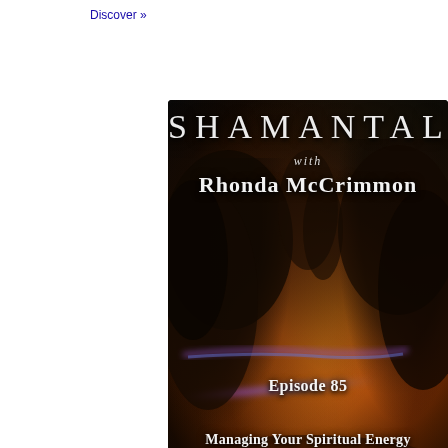Discover »
[Figure (illustration): Podcast cover art for Shaman Talk with Rhonda McCrimmon, Episode 85: Managing Your Spiritual Energy to Avoid Burn Out. Mystical/spiritual artwork with dark silhouetted tree or plant forms, fiery amber and orange glow in the background, and a magical purple-blue light streak. White text overlaid showing show title, host name, episode number and episode title.]